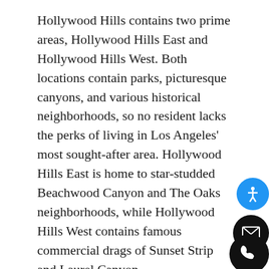Hollywood Hills contains two prime areas, Hollywood Hills East and Hollywood Hills West. Both locations contain parks, picturesque canyons, and various historical neighborhoods, so no resident lacks the perks of living in Los Angeles' most sought-after area. Hollywood Hills East is home to star-studded Beachwood Canyon and The Oaks neighborhoods, while Hollywood Hills West contains famous commercial drags of Sunset Strip and Laurel Canyon.
Hollywood Hills residents rave about the area's proximity to hot locations like Beverly Hills, Los Angeles, and many other prominent Los Angeles neighborhoods. A quick car ride takes locals to popular amenities like Dodger Stadium — home of the famed LA Dodgers baseball team — the Staples Center entertainment arena, and countless canyons and state parks. Restaurants, bars, and shopping